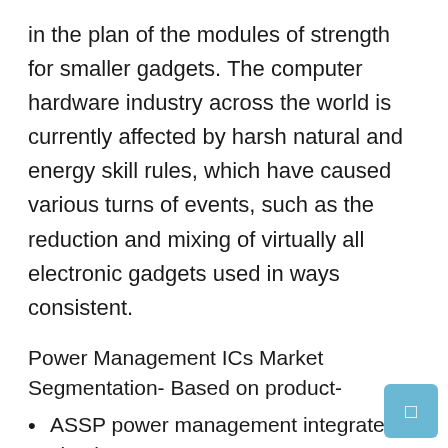in the plan of the modules of strength for smaller gadgets. The computer hardware industry across the world is currently affected by harsh natural and energy skill rules, which have caused various turns of events, such as the reduction and mixing of virtually all electronic gadgets used in ways consistent.
Power Management ICs Market Segmentation- Based on product-
ASSP power management integrated circuit
Motor control ICs
voltage regulators.
Based on app-
consumer and portable electronics
automobile